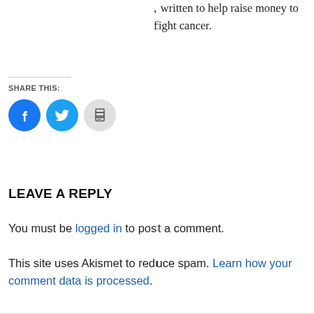, written to help raise money to fight cancer.
SHARE THIS:
[Figure (other): Social share icons: Facebook (blue circle), Twitter (blue circle), Print (grey circle)]
LEAVE A REPLY
You must be logged in to post a comment.
This site uses Akismet to reduce spam. Learn how your comment data is processed.